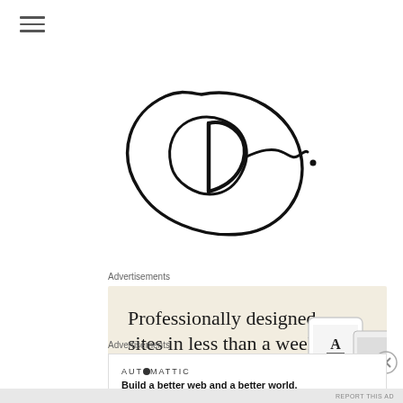[Figure (illustration): Hamburger/menu icon with three horizontal lines in the top-left corner]
[Figure (illustration): Handwritten signature or logo in black ink, circular scribble with letters resembling 'Do' followed by a trailing signature and a dot, centered in the upper half of the page]
Advertisements
[Figure (screenshot): Advertisement banner with beige/cream background showing text 'Professionally designed sites in less than a week' with a green 'Explore options' button and device mockup images on the right]
[Figure (illustration): Close/dismiss button (circled X) on the right side]
Advertisements
[Figure (screenshot): Automattic advertisement with logo 'AUTOMATTIC' and tagline 'Build a better web and a better world.']
REPORT THIS AD